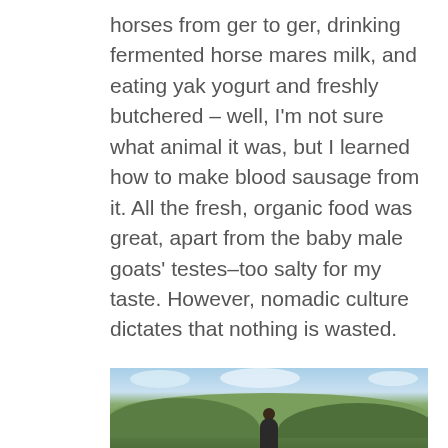horses from ger to ger, drinking fermented horse mares milk, and eating yak yogurt and freshly butchered – well, I'm not sure what animal it was, but I learned how to make blood sausage from it. All the fresh, organic food was great, apart from the baby male goats' testes–too salty for my taste. However, nomadic culture dictates that nothing is wasted.
[Figure (photo): A photo showing a person standing in a green hilly landscape under a partly cloudy sky, likely in Mongolia.]